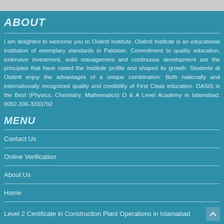ABOUT
I am delighted to welcome you to Oistintl Institute. Oistintl Institute is an educational institution of exemplary standards in Pakistan. Commitment to quality education, extensive investment, solid management and continuous development are the principles that have raised the Institute profile and shaped its growth. Students at Oistintl enjoy the advantages of a unique combination: Both nationally and internationally recognized quality and credibility of First Class education. OASIS is the Best (Physics, Chemistry, Mathematics) O & A Level Academy in Islamabad. 0092-336-3333792
MENU
Contact Us
Online Verification
About Us
Home
Level 2 Certificate in Construction Plant Operations in Islamabad